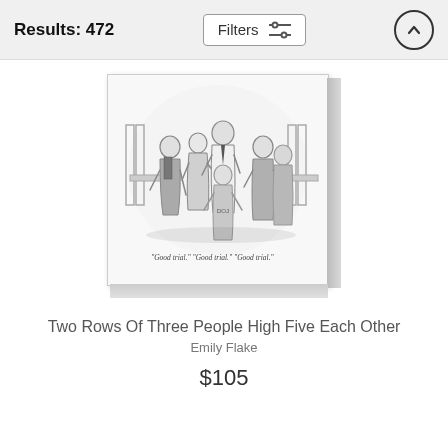Results: 472
[Figure (illustration): A New Yorker-style black and white cartoon showing two rows of three people high-fiving each other in what appears to be a courtroom setting. Caption reads: "Good trial." "Good trial." "Good trial." Displayed as a framed canvas print with 3D depth effect.]
Two Rows Of Three People High Five Each Other
Emily Flake
$105